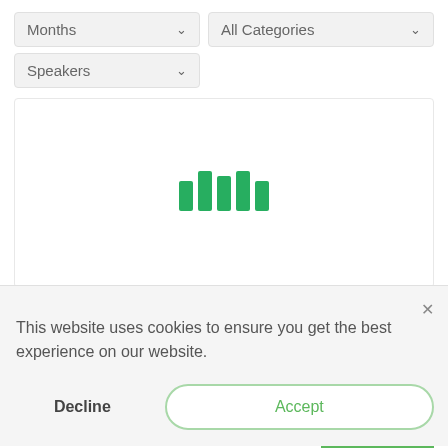[Figure (screenshot): Dropdown filter: Months selector with chevron arrow]
[Figure (screenshot): Dropdown filter: All Categories selector with chevron arrow]
[Figure (screenshot): Dropdown filter: Speakers selector with chevron arrow]
[Figure (other): Loading spinner with 5 vertical green bars of varying heights]
This website uses cookies to ensure you get the best experience on our website.
Decline
Accept
+ Ical Import